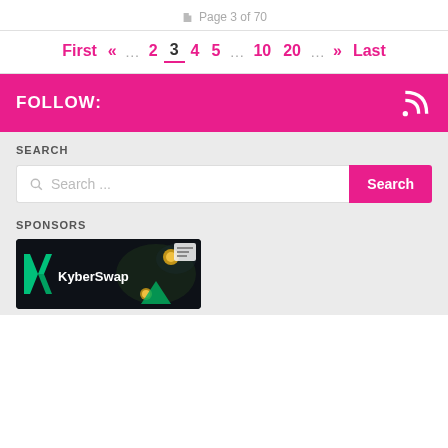Page 3 of 70
First « … 2 3 4 5 … 10 20 … » Last
FOLLOW:
SEARCH
Search ...
SPONSORS
[Figure (logo): KyberSwap logo on dark background with coins and graphics]